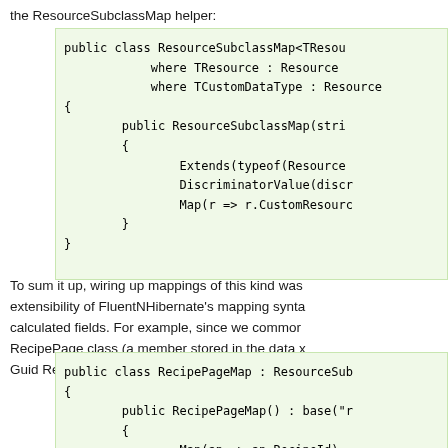the ResourceSubclassMap helper:
public class ResourceSubclassMap<TResou
            where TResource : Resource
            where TCustomDataType : Resource
{
        public ResourceSubclassMap(stri
        {
                Extends(typeof(Resource
                DiscriminatorValue(discr
                Map(r => r.CustomResourc
        }
}
To sum it up, wiring up mappings of this kind was extensibility of FluentNHibernate's mapping synta calculated fields. For example, since we commor RecipePage class (a member stored in the data x Guid RecipeId and specified a mapping like this:
public class RecipePageMap : ResourceSub
{
        public RecipePageMap() : base("r
        {
                Map(ap => ap.RecipeId)